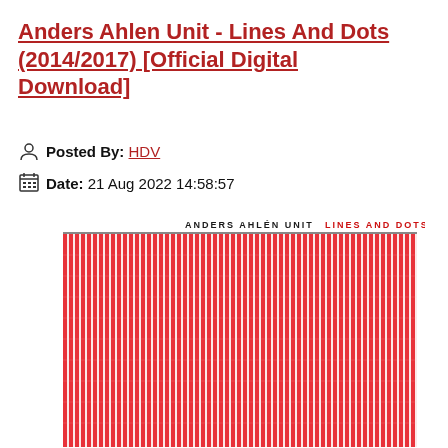Anders Ahlen Unit - Lines And Dots (2014/2017) [Official Digital Download]
Posted By: HDV
Date: 21 Aug 2022 14:58:57
[Figure (illustration): Album cover art for 'Lines And Dots' by Anders Ahlén Unit. Red and white vertical stripes pattern filling the cover. Top header text reads 'ANDERS AHLÉN UNIT' in black on the left and 'LINES AND DOTS' in red on the right.]